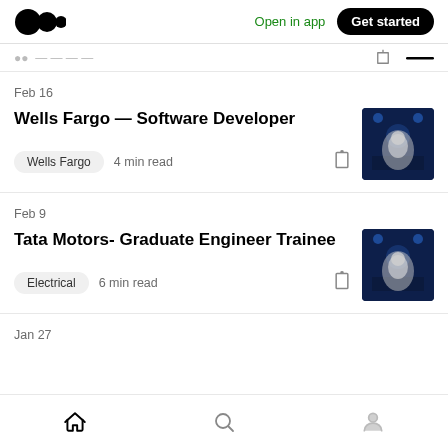Medium app header with logo, Open in app, Get started
Feb 16
Wells Fargo — Software Developer
Wells Fargo  4 min read
[Figure (photo): Article thumbnail image for Wells Fargo Software Developer article]
Feb 9
Tata Motors- Graduate Engineer Trainee
Electrical  6 min read
[Figure (photo): Article thumbnail image for Tata Motors Graduate Engineer Trainee article]
Jan 27
Bottom navigation: Home, Search, Profile